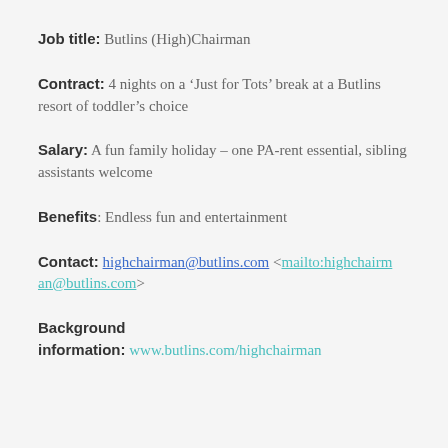Job title: Butlins (High)Chairman
Contract: 4 nights on a ‘Just for Tots’ break at a Butlins resort of toddler’s choice
Salary: A fun family holiday – one PA-rent essential, sibling assistants welcome
Benefits: Endless fun and entertainment
Contact: highchairman@butlins.com <mailto:highchairman@butlins.com>
Background information: www.butlins.com/highchairman